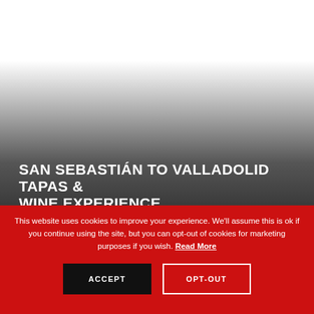[Figure (photo): Background photo of a travel/food scene (San Sebastián to Valladolid tapas and wine), shown as a dark gradient fading from white at top to dark grey at bottom]
SAN SEBASTIÁN TO VALLADOLID TAPAS & WINE EXPERIENCE
This website uses cookies to improve your experience. We'll assume this is ok if you continue using the site, but you can opt-out of cookies for marketing purposes if you wish. Read More
ACCEPT
OPT-OUT